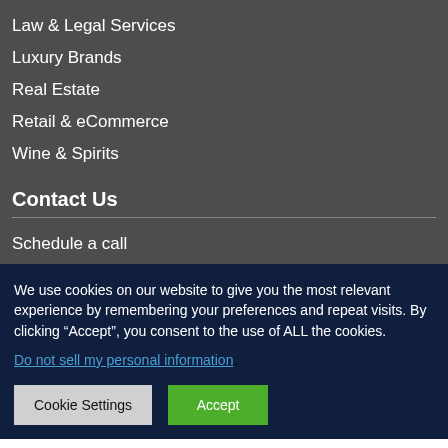Law & Legal Services
Luxury Brands
Real Estate
Retail & eCommerce
Wine & Spirits
Contact Us
Schedule a call
We use cookies on our website to give you the most relevant experience by remembering your preferences and repeat visits. By clicking “Accept”, you consent to the use of ALL the cookies.
Do not sell my personal information.
Cookie Settings
Accept